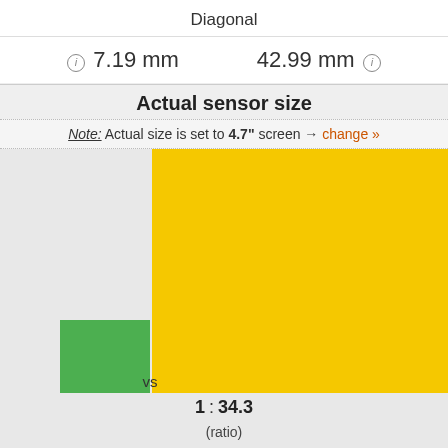Diagonal
ⓘ 7.19 mm   42.99 mm ⓘ
Actual sensor size
Note: Actual size is set to 4.7" screen → change »
[Figure (infographic): Visual comparison of two sensor sizes. A small green rectangle on the left represents sensor 1, and a large yellow rectangle on the right represents sensor 2. Below: ratio label '1 : 34.3' and '(ratio)' caption.]